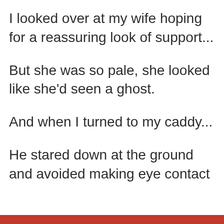I looked over at my wife hoping for a reassuring look of support...
But she was so pale, she looked like she'd seen a ghost.
And when I turned to my caddy...
He stared down at the ground and avoided making eye contact